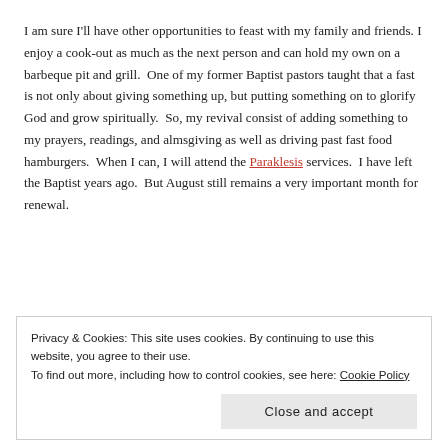I am sure I'll have other opportunities to feast with my family and friends. I enjoy a cook-out as much as the next person and can hold my own on a barbeque pit and grill.  One of my former Baptist pastors taught that a fast is not only about giving something up, but putting something on to glorify God and grow spiritually.  So, my revival consist of adding something to my prayers, readings, and almsgiving as well as driving past fast food hamburgers.  When I can, I will attend the Paraklesis services.  I have left the Baptist years ago.  But August still remains a very important month for renewal.
Privacy & Cookies: This site uses cookies. By continuing to use this website, you agree to their use.
To find out more, including how to control cookies, see here: Cookie Policy
Close and accept